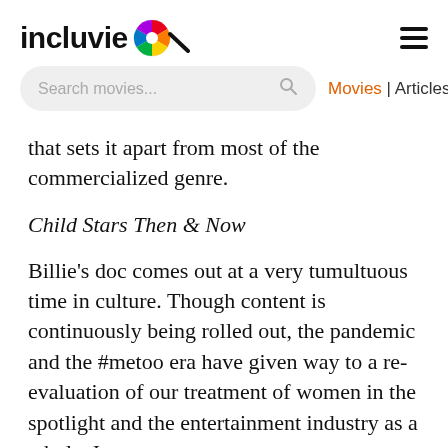incluvie [logo] ☰
Search movies...   Movies | Articles
that sets it apart from most of the commercialized genre.
Child Stars Then & Now
Billie's doc comes out at a very tumultuous time in culture. Though content is continuously being rolled out, the pandemic and the #metoo era have given way to a re-evaluation of our treatment of women in the spotlight and the entertainment industry as a whole. It